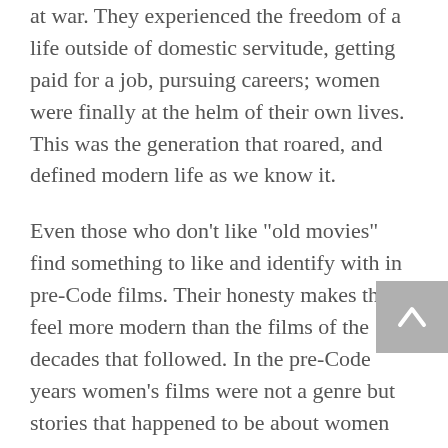at war. They experienced the freedom of a life outside of domestic servitude, getting paid for a job, pursuing careers; women were finally at the helm of their own lives. This was the generation that roared, and defined modern life as we know it.
Even those who don't like "old movies" find something to like and identify with in pre-Code films. Their honesty makes them feel more modern than the films of the decades that followed. In the pre-Code years women's films were not a genre but stories that happened to be about women which both men and women enjoyed. This was one of the greatest periods in American cinema for actresses; one